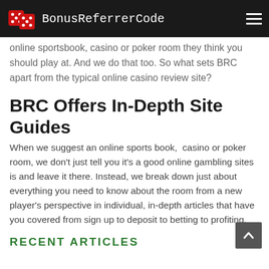BonusReferrerCode
online sportsbook, casino or poker room they think you should play at. And we do that too. So what sets BRC apart from the typical online casino review site?
BRC Offers In-Depth Site Guides
When we suggest an online sports book,  casino or poker room, we don't just tell you it's a good online gambling sites is and leave it there. Instead, we break down just about everything you need to know about the room from a new player's perspective in individual, in-depth articles that have you covered from sign up to deposit to betting to profiting.
RECENT ARTICLES